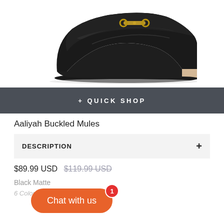[Figure (photo): Black leather mule shoe with gold buckle hardware, shown on white background, side/three-quarter view]
+ QUICK SHOP
Aaliyah Buckled Mules
DESCRIPTION +
$89.99 USD $119.99 USD
Black Matte
6 Color Available
Chat with us